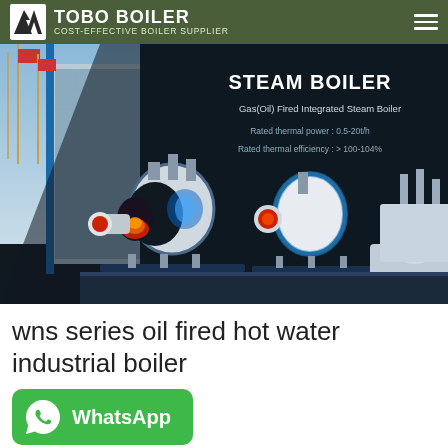COST-EFFECTIVE BOILER SUPPLIER
[Figure (photo): Banner image showing steam boiler products with dark background, boiler machinery on right, building with flags on left. Text overlay: STEAM BOILER, Gas(Oil) Fired Integrated Steam Boiler, Rated thermal power: 0.5-20t/h, Rated thermal efficiency: >100-104%]
wns series oil fired hot water industrial boiler
[Figure (logo): WhatsApp button with phone icon and WhatsApp text in green rounded rectangle]